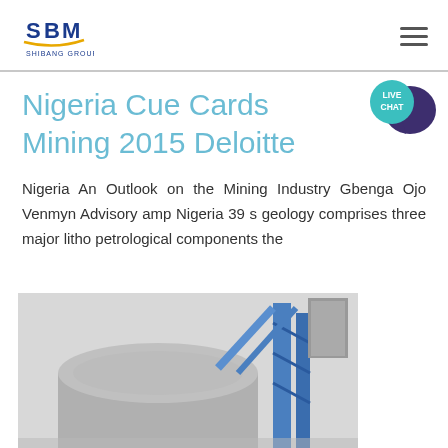SBM Shibang Group logo and hamburger menu
Nigeria Cue Cards Mining 2015 Deloitte
[Figure (other): Live Chat badge with speech bubble icon in teal/dark purple]
Nigeria An Outlook on the Mining Industry Gbenga Ojo Venmyn Advisory amp Nigeria 39 s geology comprises three major litho petrological components the
[Figure (photo): Industrial mining facility photo showing a large concrete silo/dome structure and blue metal framework/conveyor tower against a grey sky]